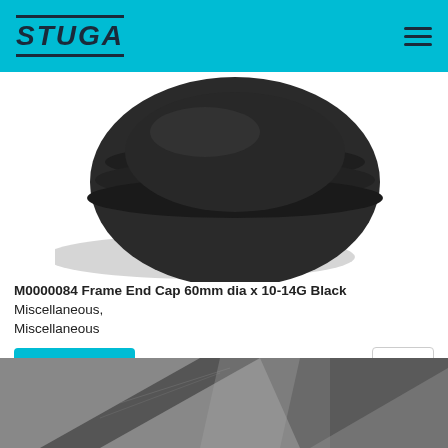STUGA
[Figure (photo): Close-up photo of a black circular plastic frame end cap with ridged edges, viewed from above at an angle, on a white background.]
M0000084 Frame End Cap 60mm dia x 10-14G Black  Miscellaneous, Miscellaneous
Add to Quote  1
[Figure (photo): Close-up photo of a dark grey/black metal frame corner joint or bracket, showing two pieces meeting at an angle.]